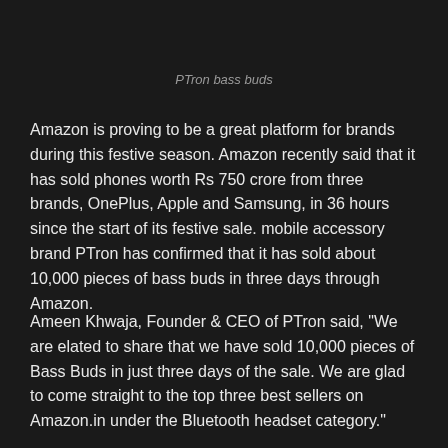PTron bass buds
Amazon is proving to be a great platform for brands during this festive season. Amazon recently said that it has sold phones worth Rs 750 crore from three brands, OnePlus, Apple and Samsung, in 36 hours since the start of its festive sale. mobile accessory brand PTron has confirmed that it has sold about 10,000 pieces of bass buds in three days through Amazon.
Ameen Khwaja, Founder & CEO of PTron said, "We are elated to share that we have sold 10,000 pieces of Bass Buds in just three days of the sale. We are glad to come straight to the top three best sellers on Amazon.in under the Bluetooth headset category."